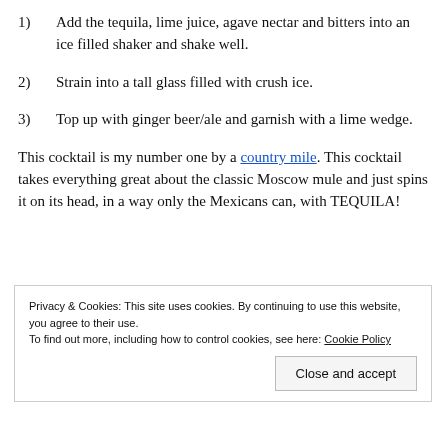1)   Add the tequila, lime juice, agave nectar and bitters into an ice filled shaker and shake well.
2)   Strain into a tall glass filled with crush ice.
3)   Top up with ginger beer/ale and garnish with a lime wedge.
This cocktail is my number one by a country mile. This cocktail takes everything great about the classic Moscow mule and just spins it on its head, in a way only the Mexicans can, with TEQUILA!
[Figure (photo): Partial view of a red-colored image, likely a cocktail or beverage product photo with a white circular element visible at the bottom center.]
Privacy & Cookies: This site uses cookies. By continuing to use this website, you agree to their use.
To find out more, including how to control cookies, see here: Cookie Policy

Close and accept